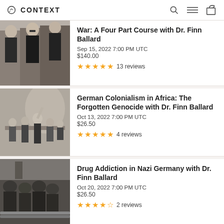CONTEXT
War: A Four Part Course with Dr. Finn Ballard
Sep 15, 2022 7:00 PM UTC
$140.00
13 reviews
German Colonialism in Africa: The Forgotten Genocide with Dr. Finn Ballard
Oct 13, 2022 7:00 PM UTC
$26.50
4 reviews
Drug Addiction in Nazi Germany with Dr. Finn Ballard
Oct 20, 2022 7:00 PM UTC
$26.50
2 reviews